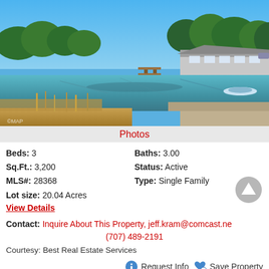[Figure (photo): Waterfront property photo showing a house near a calm bay or lake with a dock, surrounded by dry grass and evergreen trees under a clear blue sky.]
Photos
Beds: 3    Baths: 3.00
Sq.Ft.: 3,200    Status: Active
MLS#: 28368    Type: Single Family
Lot size: 20.04 Acres
View Details
Contact: Inquire About This Property, jeff.kram@comcast.ne, (707) 489-2191
Courtesy: Best Real Estate Services
Request Info  Save Property